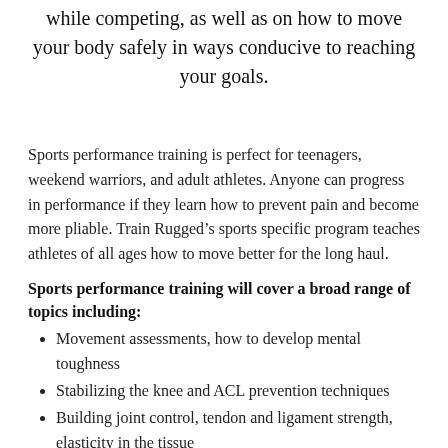while competing, as well as on how to move your body safely in ways conducive to reaching your goals.
Sports performance training is perfect for teenagers, weekend warriors, and adult athletes. Anyone can progress in performance if they learn how to prevent pain and become more pliable. Train Rugged’s sports specific program teaches athletes of all ages how to move better for the long haul.
Sports performance training will cover a broad range of topics including:
Movement assessments, how to develop mental toughness
Stabilizing the knee and ACL prevention techniques
Building joint control, tendon and ligament strength, elasticity in the tissue